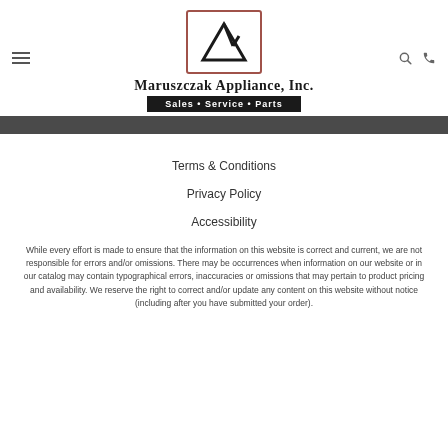[Figure (logo): Maruszczak Appliance Inc. logo — stylized M inside a red-bordered rectangle, with company name and 'Sales • Service • Parts' tagline below]
Terms & Conditions
Privacy Policy
Accessibility
While every effort is made to ensure that the information on this website is correct and current, we are not responsible for errors and/or omissions. There may be occurrences when information on our website or in our catalog may contain typographical errors, inaccuracies or omissions that may pertain to product pricing and availability. We reserve the right to correct and/or update any content on this website without notice (including after you have submitted your order).